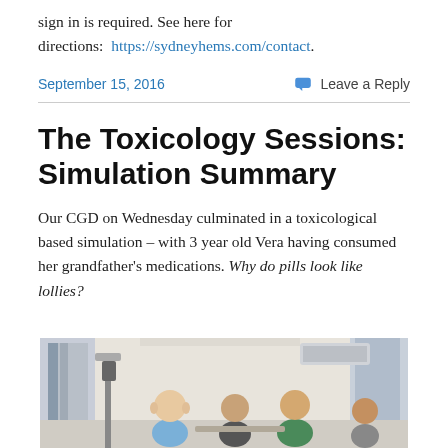sign in is required. See here for directions:  https://sydneyhems.com/contact.
September 15, 2016
Leave a Reply
The Toxicology Sessions: Simulation Summary
Our CGD on Wednesday culminated in a toxicological based simulation – with 3 year old Vera having consumed her grandfather's medications. Why do pills look like lollies?
[Figure (photo): Indoor scene showing medical simulation in progress with people in a clinical training room]